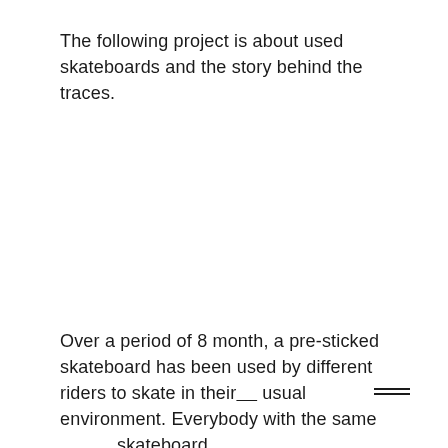The following project is about used skateboards and the story behind the traces.
Over a period of 8 month, a pre-sticked skateboard has been used by different riders to skate in their usual environment. Everybody with the same skateboard.